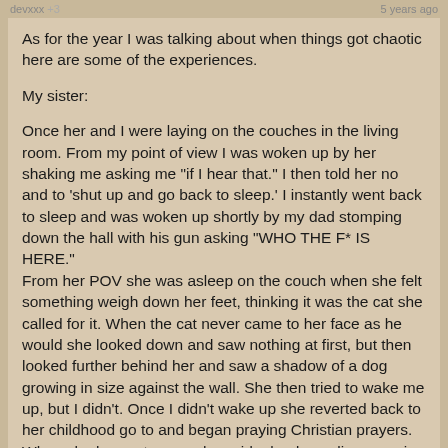devxxx +3   5 years ago
As for the year I was talking about when things got chaotic here are some of the experiences.
My sister:
Once her and I were laying on the couches in the living room. From my point of view I was woken up by her shaking me asking me "if I hear that." I then told her no and to 'shut up and go back to sleep.' I instantly went back to sleep and was woken up shortly by my dad stomping down the hall with his gun asking "WHO THE F* IS HERE."
From her POV she was asleep on the couch when she felt something weigh down her feet, thinking it was the cat she called for it. When the cat never came to her face as he would she looked down and saw nothing at first, but then looked further behind her and saw a shadow of a dog growing in size against the wall. She then tried to wake me up, but I didn't. Once I didn't wake up she reverted back to her childhood go to and began praying Christian prayers. When she began to pray she said a loud growling grew in decibels from beneath the couch and instantaneously something began pulling at the covers from the side of the couch. Trying to ignore it she began